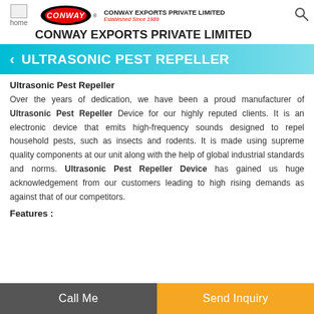CONWAY EXPORTS PRIVATE LIMITED — Established Since 1989
CONWAY EXPORTS PRIVATE LIMITED
ULTRASONIC PEST REPELLER
Ultrasonic Pest Repeller
Over the years of dedication, we have been a proud manufacturer of Ultrasonic Pest Repeller Device for our highly reputed clients. It is an electronic device that emits high-frequency sounds designed to repel household pests, such as insects and rodents. It is made using supreme quality components at our unit along with the help of global industrial standards and norms. Ultrasonic Pest Repeller Device has gained us huge acknowledgement from our customers leading to high rising demands as against that of our competitors.
Features :